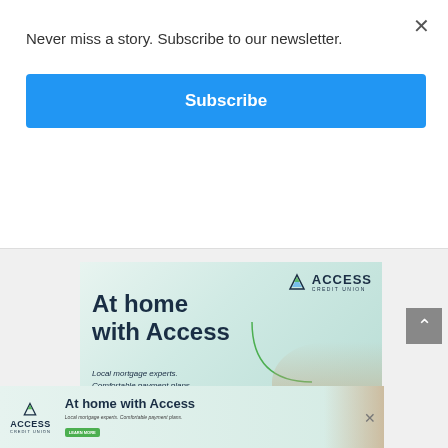Never miss a story. Subscribe to our newsletter.
Subscribe
[Figure (illustration): Access Credit Union advertisement banner: 'At home with Access' with tagline 'Local mortgage experts. Comfortable payment plans.' with a family photo background and Access Credit Union logo]
[Figure (illustration): Bottom banner ad: Access Credit Union 'At home with Access' advertisement with logo, headline, subtext, Learn More button, and family photo]